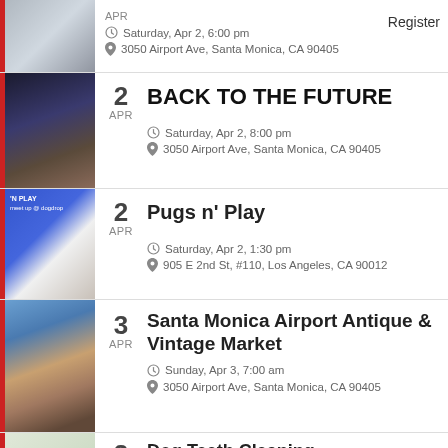APR — Saturday, Apr 2, 6:00 pm — 3050 Airport Ave, Santa Monica, CA 90405 — Register
2 APR BACK TO THE FUTURE — Saturday, Apr 2, 8:00 pm — 3050 Airport Ave, Santa Monica, CA 90405
2 APR Pugs n' Play — Saturday, Apr 2, 1:30 pm — 905 E 2nd St, #110, Los Angeles, CA 90012
3 APR Santa Monica Airport Antique & Vintage Market — Sunday, Apr 3, 7:00 am — 3050 Airport Ave, Santa Monica, CA 90405
3 APR Dog Teeth Cleaning in West Hollywood